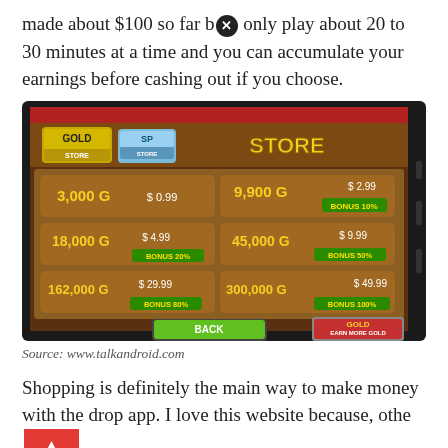made about $100 so far but only play about 20 to 30 minutes at a time and you can accumulate your earnings before cashing out if you choose.
[Figure (screenshot): Mobile game store screenshot showing 'STORE' with Gold Store and SP Store tabs. Six purchase options listed: 3,000G for $0.99, 9,900G for $2.99 (BONUS 10%), 18,000G for $4.99 (BONUS 20%), 45,000G for $9.99 (BONUS 50%), 162,000G for $29.99 (BONUS 80%), 300,000G for $49.99 (BONUS 100%). BACK button and GOLD EARN MORE GOLD button at bottom.]
Source: www.talkandroid.com
Shopping is definitely the main way to make money with the drop app. I love this website because, other than paypal, you get a ton of other choices for cashing